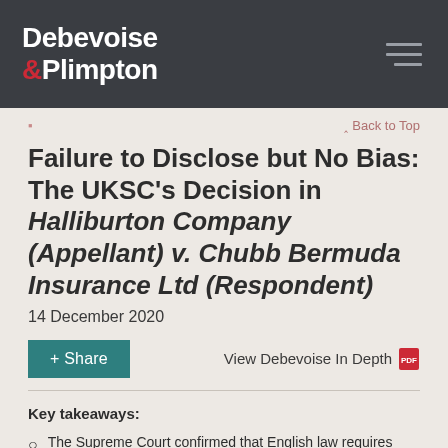Debevoise & Plimpton
Failure to Disclose but No Bias: The UKSC's Decision in Halliburton Company (Appellant) v. Chubb Bermuda Insurance Ltd (Respondent)
14 December 2020
+ Share
View Debevoise In Depth
Key takeaways:
The Supreme Court confirmed that English law requires arbitrators to disclose to the parties related prior and/or